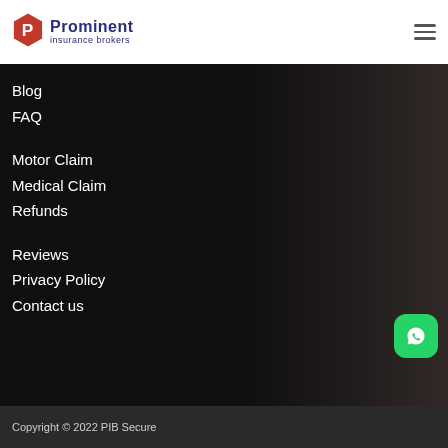[Figure (logo): Prominent Insurance Brokers logo with hexagonal P icon in red and company name in dark blue]
Blog
FAQ
Motor Claim
Medical Claim
Refunds
Reviews
Privacy Policy
Contact us
Copyright © 2022 PIB Secure